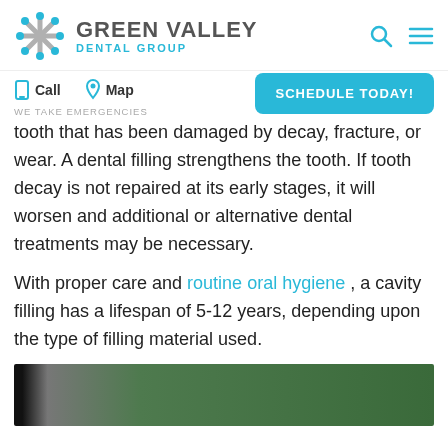GREEN VALLEY DENTAL GROUP
Call   Map   WE TAKE EMERGENCIES   SCHEDULE TODAY!
tooth that has been damaged by decay, fracture, or wear. A dental filling strengthens the tooth. If tooth decay is not repaired at its early stages, it will worsen and additional or alternative dental treatments may be necessary.
With proper care and routine oral hygiene , a cavity filling has a lifespan of 5-12 years, depending upon the type of filling material used.
[Figure (photo): Partial image of a dental procedure or teeth, with green background, partially visible at bottom of page]